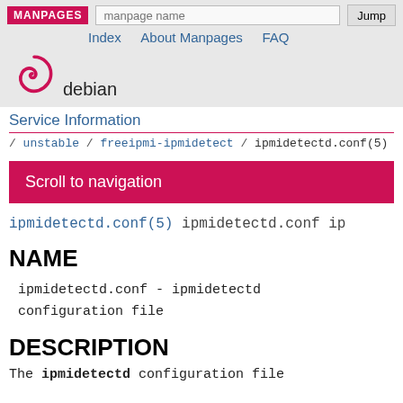MANPAGES | manpage name | Jump | Index | About Manpages | FAQ
[Figure (logo): Debian swirl logo with 'debian' text below]
Service Information
/ unstable / freeipmi-ipmidetect / ipmidetectd.conf(5)
Scroll to navigation
ipmidetectd.conf(5) ipmidetectd.conf ip
NAME
ipmidetectd.conf - ipmidetectd configuration file
DESCRIPTION
The ipmidetectd configuration file